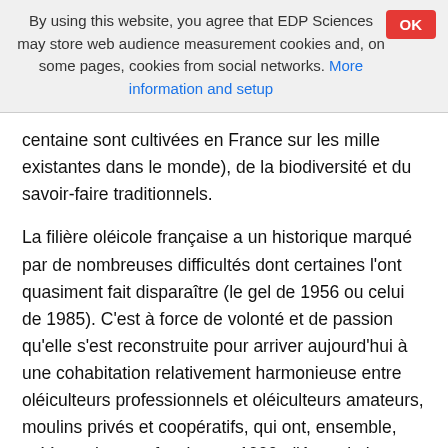By using this website, you agree that EDP Sciences may store web audience measurement cookies and, on some pages, cookies from social networks. More information and setup
centaine sont cultivées en France sur les mille existantes dans le monde), de la biodiversité et du savoir-faire traditionnels.
La filière oléicole française a un historique marqué par de nombreuses difficultés dont certaines l'ont quasiment fait disparaître (le gel de 1956 ou celui de 1985). C'est à force de volonté et de passion qu'elle s'est reconstruite pour arriver aujourd'hui à une cohabitation relativement harmonieuse entre oléiculteurs professionnels et oléiculteurs amateurs, moulins privés et coopératifs, qui ont, ensemble, créé une interprofession en 1999 : l'Association Française Interprofessionnelle de l'Olive. De nombreux efforts ont été faits pour améliorer la productivité, pour produire de l'huile et des olives de grande qualité, pour développer les